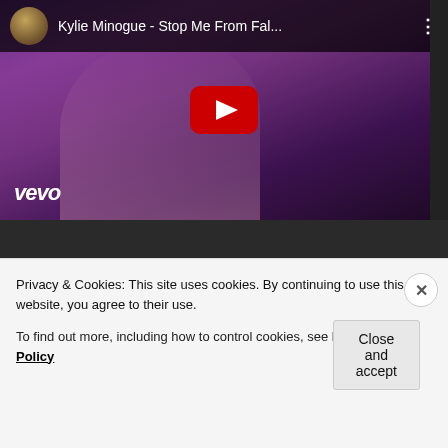[Figure (screenshot): YouTube video thumbnail for 'Kylie Minogue - Stop Me From Fal...' showing a woman with long hair in a dark purple/pink tinted scene. Vevo channel icon and title in header. Red YouTube play button in center. Vevo logo at bottom left.]
REPORT THIS AD
Privacy & Cookies: This site uses cookies. By continuing to use this website, you agree to their use.
To find out more, including how to control cookies, see here: Cookie Policy
Close and accept